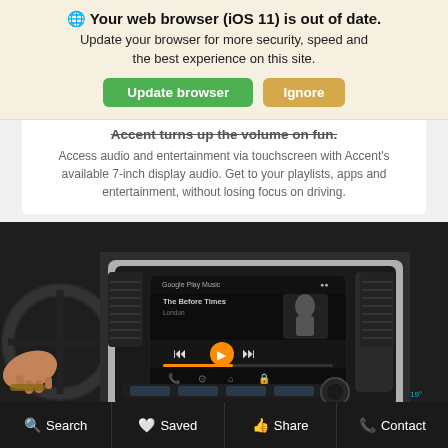🌐 Your web browser (iOS 11) is out of date. Update your browser for more security, speed and the best experience on this site.
Accent turns up the volume on fun.
Access audio and entertainment via touchscreen with Accent's available 7-inch display audio. Get to your playlists, apps and entertainment, without losing focus on driving.
[Figure (photo): Car dashboard interior showing a 7-inch touchscreen display with music playback, steering wheel, air vents, and climate controls. A person's hand is on the steering wheel.]
Search  Saved  Share  Contact